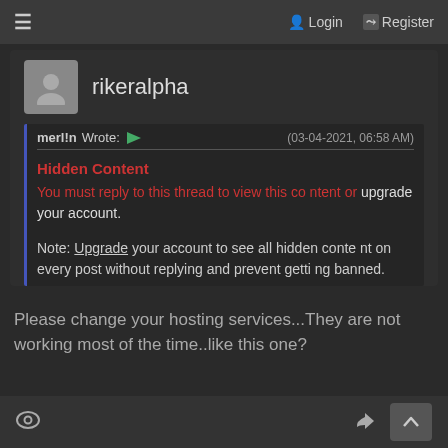≡  Login  + Register
rikeralpha
merl!n Wrote: → (03-04-2021, 06:58 AM)
Hidden Content
You must reply to this thread to view this content or upgrade your account.
Note: Upgrade your account to see all hidden content on every post without replying and prevent getting banned.
Please change your hosting services...They are not working most of the time..like this one?